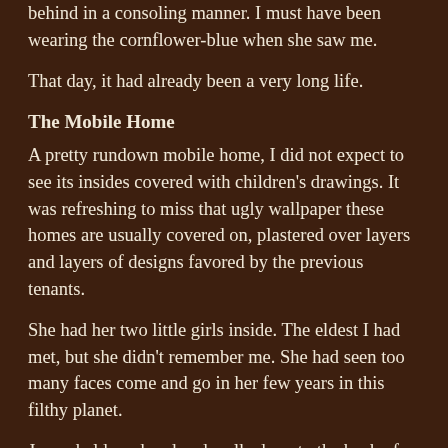behind in a consoling manner. I must have been wearing the cornflower-blue when she saw me.
That day, it had already been a very long life.
The Mobile Home
A pretty rundown mobile home, I did not expect to see its insides covered with children's drawings. It was refreshing to miss that ugly wallpaper these homes are usually covered on, plastered over layers and layers of designs favored by the previous tenants.
She had her two little girls inside. The eldest I had met, but she didn't remember me. She had seen too many faces come and go in her few years in this filthy planet.
Jenny held my hand and walked me to the back of the trailer, shutting the door behind us and securing it the plasticized metal wire of a bag of sliced bread. I don't think they could hear us, but we could hear them play with their old plastic soldiers; the same ones I had when I was a boy. No solid